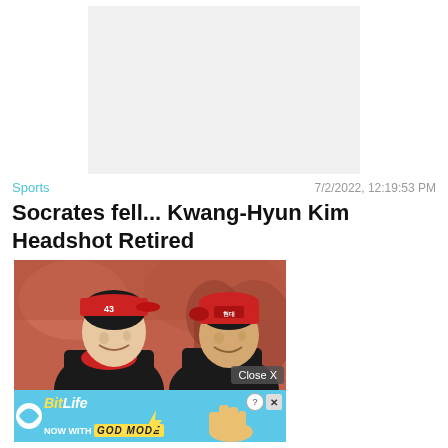[Figure (other): Gray placeholder advertisement block at top of page]
Sports   7/2/2022, 12:19:53 PM
Socrates fell... Kwang-Hyun Kim Headshot Retired
[Figure (photo): Two men wearing red baseball caps and team gear smiling at each other at a sports event]
Close X
[Figure (other): BitLife advertisement banner - NOW WITH GOD MODE]